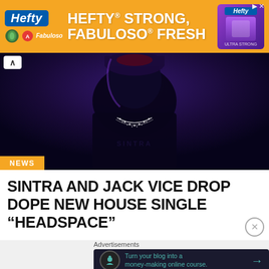[Figure (photo): Hefty brand advertisement banner with orange background reading 'HEFTY STRONG, FABULOSO FRESH' with Hefty and Fabuloso logos and product image]
[Figure (photo): Dark atmospheric photo of a person wearing a chain necklace, lit with deep purple/blue tones, nearly silhouetted against dark background]
NEWS
SINTRA AND JACK VICE DROP DOPE NEW HOUSE SINGLE “HEADSPACE”
[Figure (infographic): Advertisement banner: 'Turn your blog into a money-making online course.' with arrow button on dark background]